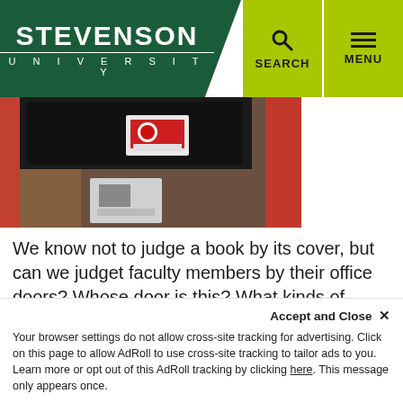STEVENSON UNIVERSITY
[Figure (photo): Close-up photo of a faculty office door with black fabric organizer and papers/photos pinned to it, with a red pole/column visible on the right side.]
We know not to judge a book by its cover, but can we judget faculty members by their office doors? Whose door is this?  What kinds of courses does she/he teach? What kind of research does he/she do?
This is LRC 5 home to Dr. Jamie Goodall, Assistant Professor in the Public History department. Her research interests include piracy, smuggling, illicit tra...
Your browser settings do not allow cross-site tracking for advertising. Click on this page to allow AdRoll to use cross-site tracking to tailor ads to you. Learn more or opt out of this AdRoll tracking by clicking here. This message only appears once.